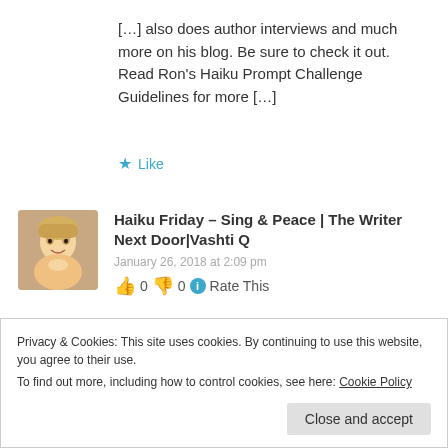[…] also does author interviews and much more on his blog. Be sure to check it out. Read Ron's Haiku Prompt Challenge Guidelines for more […]
★ Like
Haiku Friday – Sing & Peace | The Writer Next Door|Vashti Q
January 26, 2018 at 2:09 pm
👍 0 👎 0 ℹ Rate This
Privacy & Cookies: This site uses cookies. By continuing to use this website, you agree to their use.
To find out more, including how to control cookies, see here: Cookie Policy
Close and accept